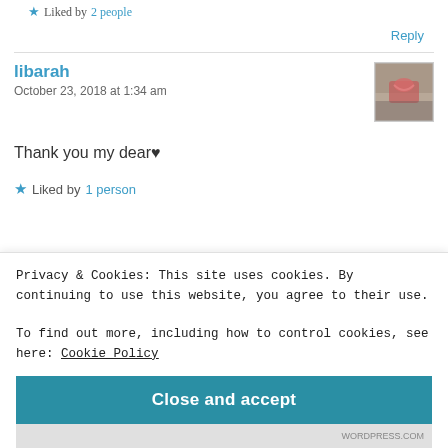★ Liked by 2 people
Reply
libarah
October 23, 2018 at 1:34 am
Thank you my dear♥
★ Liked by 1 person
Privacy & Cookies: This site uses cookies. By continuing to use this website, you agree to their use.
To find out more, including how to control cookies, see here: Cookie Policy
Close and accept